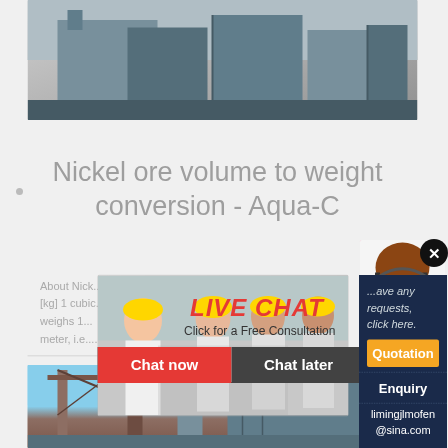[Figure (photo): Industrial facility building photo at top of page]
Nickel ore volume to weight conversion - Aqua-C
About Nick... [kg] 1 cubic... weighs 1... meter, i.e....
[Figure (screenshot): Live chat popup overlay with workers in hard hats, LIVE CHAT text, Click for a Free Consultation, Chat now and Chat later buttons]
[Figure (photo): Right side panel: woman with headset customer service photo, close X button, sidebar with Quotation button, Enquiry text, and limingjlmofen@sina.com email]
[Figure (photo): Bottom industrial construction/crane photo]